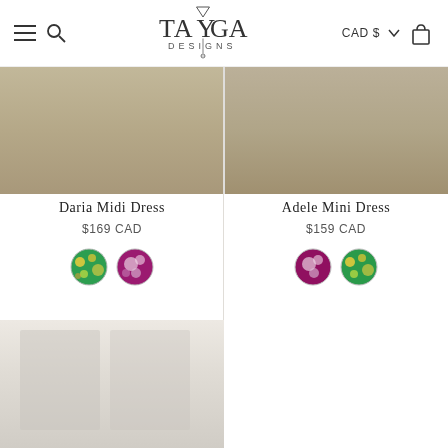TAYGA DESIGNS — CAD $
[Figure (screenshot): Daria Midi Dress product image (top portion, cropped)]
Daria Midi Dress
$169 CAD
[Figure (illustration): Two circular color swatches for Daria Midi Dress: green floral and pink/purple floral]
[Figure (screenshot): Adele Mini Dress product image (top portion, cropped)]
Adele Mini Dress
$159 CAD
[Figure (illustration): Two circular color swatches for Adele Mini Dress: pink/purple floral and green floral]
[Figure (screenshot): Second row product images (partially visible at bottom of page)]